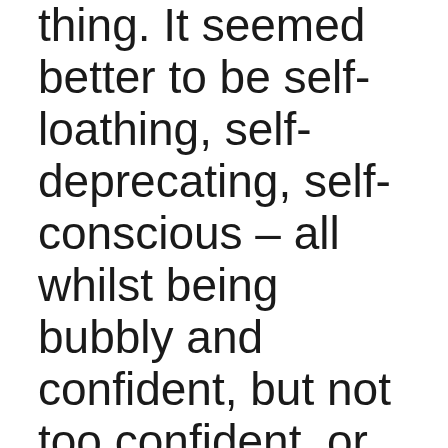thing.  It seemed better to be self-loathing, self-deprecating, self-conscious – all whilst being bubbly and confident, but not too confident, or else you loved yourself. See the conundrum here?
That was back then.  Over the years, with all the personal development I've done, it slowly dawned on me that loving myself wasn't an act of arrogance and it didn't mean I thought I was better than everyone else. I realised that self-love was not